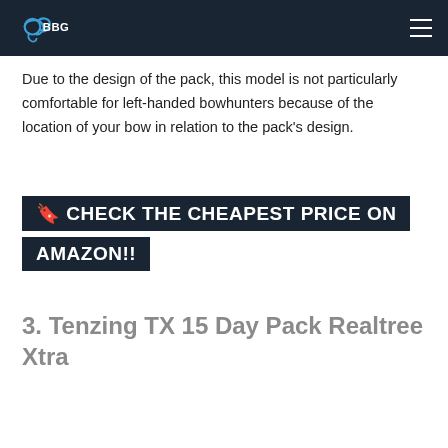BBGFC
Due to the design of the pack, this model is not particularly comfortable for left-handed bowhunters because of the location of your bow in relation to the pack’s design.
CHECK THE CHEAPEST PRICE ON AMAZON!!
3. Tenzing TX 15 Day Pack Realtree Xtra